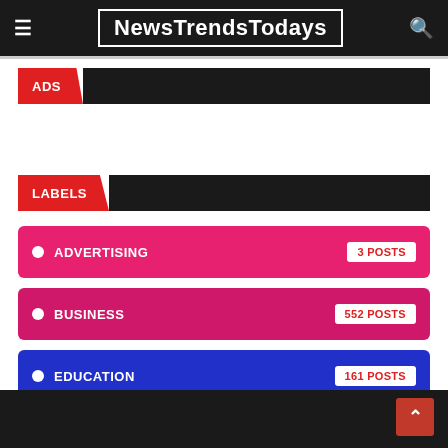NewsTrendsTodays
ADS
LABELS
ADVERTISING · 3 POSTS
BUSINESS · 552 POSTS
EDUCATION · 161 POSTS